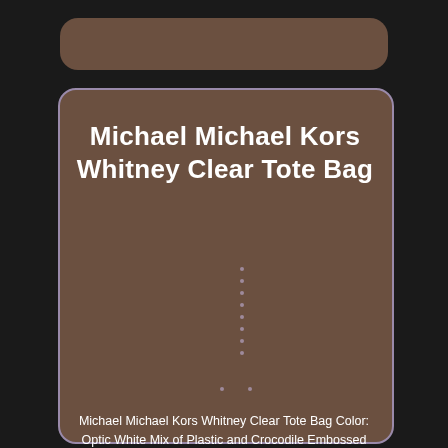Michael Michael Kors Whitney Clear Tote Bag
Michael Michael Kors Whitney Clear Tote Bag Color: Optic White Mix of Plastic and Crocodile Embossed Leather Trim Gold tone hardware Approximate Measurements: 17W x 11.25H x 7D Handle Drop 11.5 Clip top closure, interior key clip, an interior zipper pocket and 2 interior zip pockets New with Tags. The item "Michael Michael Kors Whitney Clear